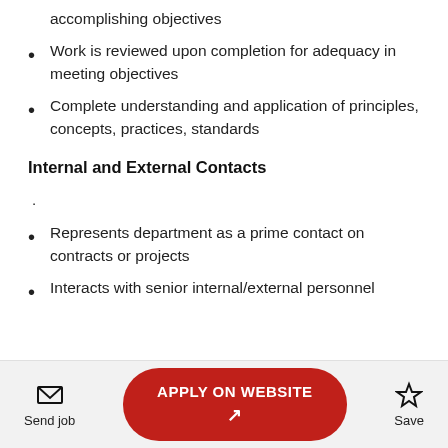accomplishing objectives
Work is reviewed upon completion for adequacy in meeting objectives
Complete understanding and application of principles, concepts, practices, standards
Internal and External Contacts
.
Represents department as a prime contact on contracts or projects
Interacts with senior internal/external personnel
Send job | APPLY ON WEBSITE | Save